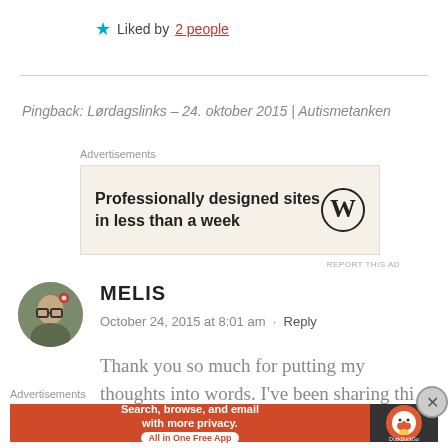★ Liked by 2 people
Pingback: Lørdagslinks – 24. oktober 2015 | Autismetanken
Advertisements
[Figure (other): WordPress advertisement: Professionally designed sites in less than a week]
REPORT THIS AD
MELIS
October 24, 2015 at 8:01 am · Reply
Thank you so much for putting my thoughts into words. I've been sharing thi
Advertisements
[Figure (other): DuckDuckGo advertisement: Search, browse, and email with more privacy. All in One Free App]
REPORT THIS AD